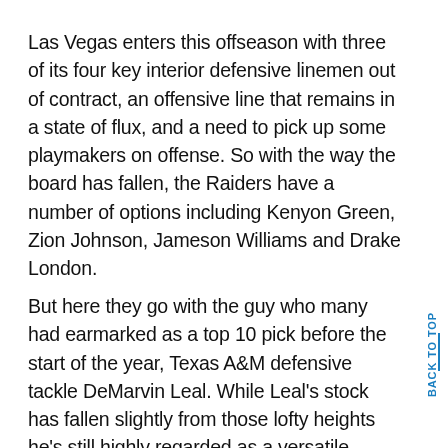Las Vegas enters this offseason with three of its four key interior defensive linemen out of contract, an offensive line that remains in a state of flux, and a need to pick up some playmakers on offense. So with the way the board has fallen, the Raiders have a number of options including Kenyon Green, Zion Johnson, Jameson Williams and Drake London.
But here they go with the guy who many had earmarked as a top 10 pick before the start of the year, Texas A&M defensive tackle DeMarvin Leal. While Leal's stock has fallen slightly from those lofty heights he's still highly regarded as a versatile defensive lineman who excels in pass rush